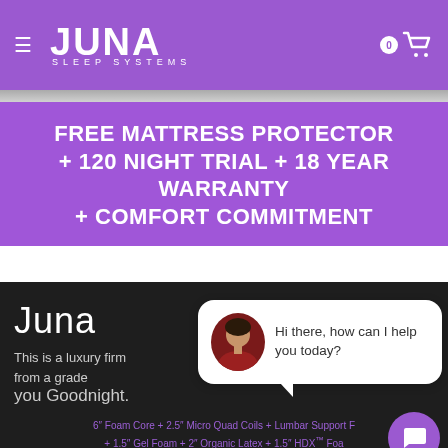JUNA SLEEP SYSTEMS — navigation header with cart
FREE MATTRESS PROTECTOR + 120 NIGHT TRIAL + 18 YEAR WARRANTY + COMFORT COMMITMENT
Juna
This is a luxury firm... from a grade... you Goodnight.
6″ Foam Core + 2.5″ Micro Quad Coils + Lumbar Support + 1.5″ Gel Foam + 2″ Organic Latex + 1.5″ HDX™ Foam
Soft    Firm
[Figure (screenshot): Chat widget bubble with female avatar saying 'Hi there, how can I help you today?']